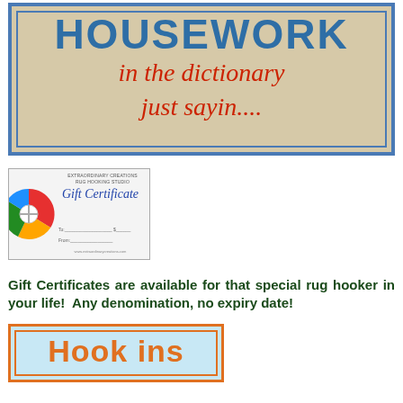[Figure (illustration): Decorative banner on burlap-textured background with blue border. Blue uppercase text 'HOUSEWORK' at top, red italic script 'in the dictionary' and 'just sayin...' below.]
[Figure (illustration): Thumbnail image of a Gift Certificate with colorful rosette on left and cursive text 'Gift Certificate' with To/From lines.]
Gift Certificates are available for that special rug hooker in your life!  Any denomination, no expiry date!
[Figure (illustration): Partial view of a light blue banner with orange border showing large orange text 'Hook ins' (partially cropped at bottom of page).]